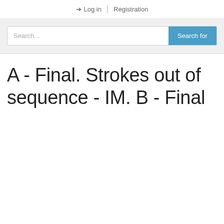Log in | Registration
[Figure (screenshot): Search bar with placeholder text 'Search...' and blue 'Search for' button]
A - Final. Strokes out of sequence - IM. B - Final